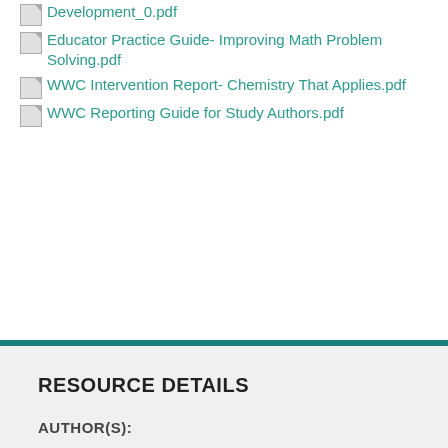PDF icon Development_0.pdf
PDF icon Educator Practice Guide- Improving Math Problem Solving.pdf
PDF icon WWC Intervention Report- Chemistry That Applies.pdf
PDF icon WWC Reporting Guide for Study Authors.pdf
RESOURCE DETAILS
AUTHOR(S):